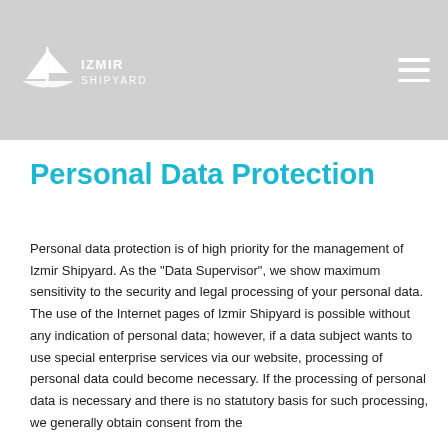[Figure (logo): Izmir Shipyard logo — white sailboat/anchor icon with text 'IZMIR SHIPYARD' in white on grey background]
Personal Data Protection
Personal data protection is of high priority for the management of Izmir Shipyard. As the "Data Supervisor", we show maximum sensitivity to the security and legal processing of your personal data. The use of the Internet pages of Izmir Shipyard is possible without any indication of personal data; however, if a data subject wants to use special enterprise services via our website, processing of personal data could become necessary. If the processing of personal data is necessary and there is no statutory basis for such processing, we generally obtain consent from the